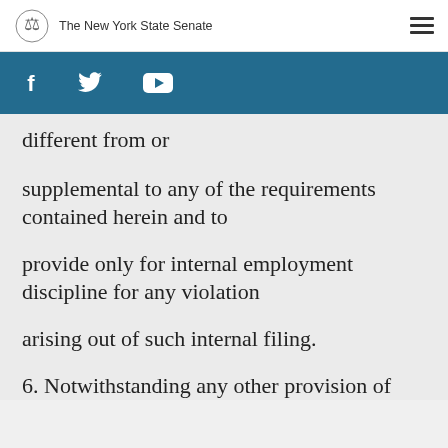The New York State Senate
[Figure (other): Social media icons bar with Facebook, Twitter, and YouTube icons on a teal/dark blue background]
different from or
supplemental to any of the requirements contained herein and to
provide only for internal employment discipline for any violation
arising out of such internal filing.
6. Notwithstanding any other provision of